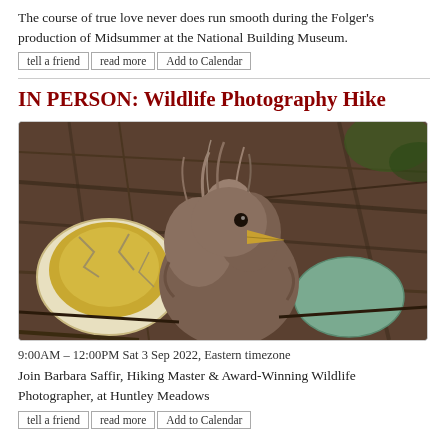The course of true love never does run smooth during the Folger's production of Midsummer at the National Building Museum.
tell a friend | read more | Add to Calendar
IN PERSON: Wildlife Photography Hike
[Figure (photo): Close-up photo of a newly hatched bird chick with fluffy brownish-gray feathers and a large beak, sitting in a nest surrounded by twigs, with a cracked white eggshell on the left and a blue-green unhatched egg on the right.]
9:00AM – 12:00PM Sat 3 Sep 2022, Eastern timezone
Join Barbara Saffir, Hiking Master & Award-Winning Wildlife Photographer, at Huntley Meadows